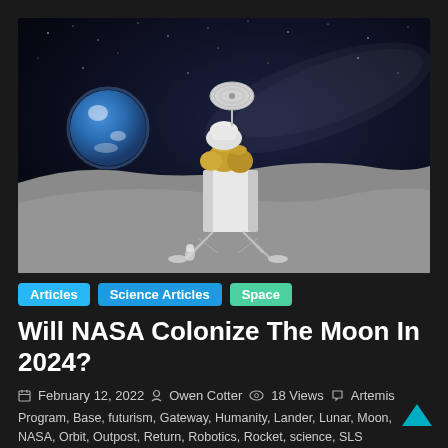[Figure (photo): Artistic rendering of a lunar lander spacecraft on the surface of the Moon, with Earth visible in the background against a starry night sky. The lander has a white cylindrical body, gold tank modules, landing struts, and a large circular dish antenna on top.]
Articles  Science Articles  Space
Will NASA Colonize The Moon In 2024?
February 12, 2022   Owen Cotter   18 Views   Artemis Program, Base, futurism, Gateway, Humanity, Lander, Lunar, Moon, NASA, Orbit, Outpost, Return, Robotics, Rocket, science, SLS